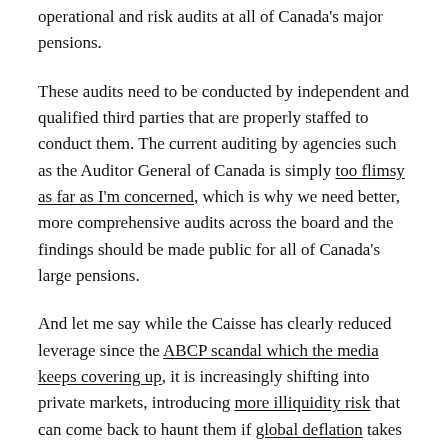operational and risk audits at all of Canada's major pensions.
These audits need to be conducted by independent and qualified third parties that are properly staffed to conduct them. The current auditing by agencies such as the Auditor General of Canada is simply too flimsy as far as I'm concerned, which is why we need better, more comprehensive audits across the board and the findings should be made public for all of Canada's large pensions.
And let me say while the Caisse has clearly reduced leverage since the ABCP scandal which the media keeps covering up, it is increasingly shifting into private markets, introducing more illiquidity risk that can come back to haunt them if global deflation takes hold.